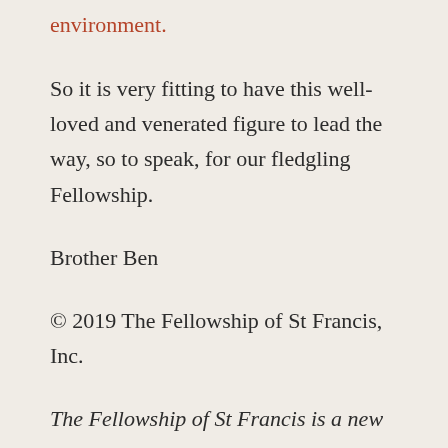environment.
So it is very fitting to have this well-loved and venerated figure to lead the way, so to speak, for our fledgling Fellowship.
Brother Ben
© 2019 The Fellowship of St Francis, Inc.
The Fellowship of St Francis is a new and completely independent ministry and is not affiliated with the Roman Catholic Church.